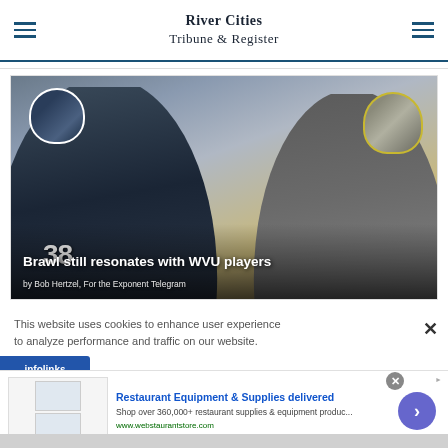River Cities Tribune & Register
[Figure (photo): Football players from Pitt (#38) and WVU in helmets facing off, with headline overlay 'Brawl still resonates with WVU players' and byline 'by Bob Hertzel, For the Exponent Telegram']
This website uses cookies to enhance user experience to analyze performance and traffic on our website.
[Figure (other): Infolinks advertisement label]
[Figure (other): Advertisement for Restaurant Equipment & Supplies delivered — Shop over 360,000+ restaurant supplies & equipment produc... — www.webstaurantstore.com]